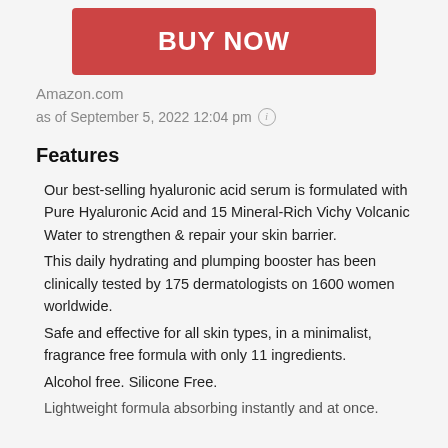[Figure (other): Red BUY NOW button]
Amazon.com
as of September 5, 2022 12:04 pm ⓘ
Features
Our best-selling hyaluronic acid serum is formulated with Pure Hyaluronic Acid and 15 Mineral-Rich Vichy Volcanic Water to strengthen & repair your skin barrier.
This daily hydrating and plumping booster has been clinically tested by 175 dermatologists on 1600 women worldwide.
Safe and effective for all skin types, in a minimalist, fragrance free formula with only 11 ingredients.
Alcohol free. Silicone Free.
Lightweight formula absorbing instantly and at once.